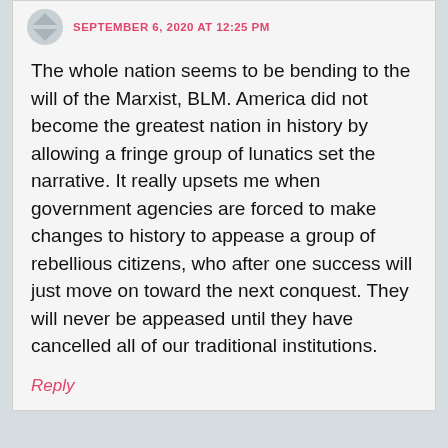SEPTEMBER 6, 2020 AT 12:25 PM
The whole nation seems to be bending to the will of the Marxist, BLM. America did not become the greatest nation in history by allowing a fringe group of lunatics set the narrative. It really upsets me when government agencies are forced to make changes to history to appease a group of rebellious citizens, who after one success will just move on toward the next conquest. They will never be appeased until they have cancelled all of our traditional institutions.
Reply